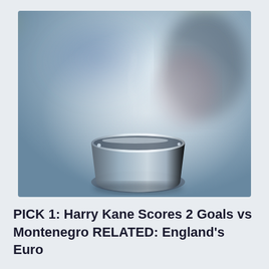[Figure (photo): Close-up photograph of a steaming metal cup or bowl with blurred background showing bokeh of blue and yellow tones. Steam wisps rise from the rim of the metallic container.]
PICK 1: Harry Kane Scores 2 Goals vs Montenegro RELATED: England's Euro